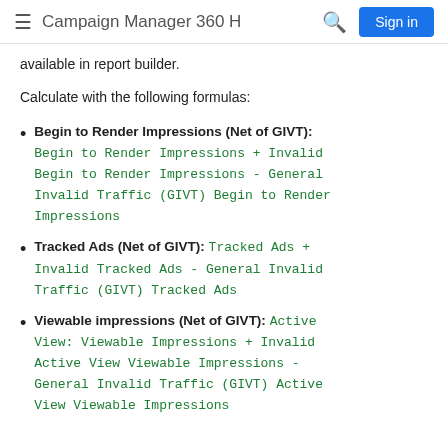Campaign Manager 360 H  [search]  Sign in
available in report builder.
Calculate with the following formulas:
Begin to Render Impressions (Net of GIVT): Begin to Render Impressions + Invalid Begin to Render Impressions - General Invalid Traffic (GIVT) Begin to Render Impressions
Tracked Ads (Net of GIVT): Tracked Ads + Invalid Tracked Ads - General Invalid Traffic (GIVT) Tracked Ads
Viewable impressions (Net of GIVT): Active View: Viewable Impressions + Invalid Active View Viewable Impressions - General Invalid Traffic (GIVT) Active View Viewable Impressions